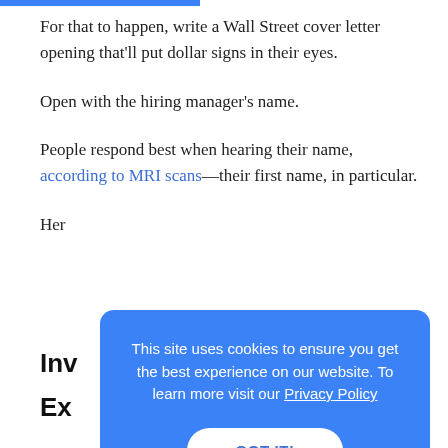For that to happen, write a Wall Street cover letter opening that'll put dollar signs in their eyes.
Open with the hiring manager's name.
People respond best when hearing their name, according to MRI scans—their first name, in particular.
Her
Inv
Ex
This site uses cookies to ensure you get the best experience on our website. To learn more visit our Privacy Policy